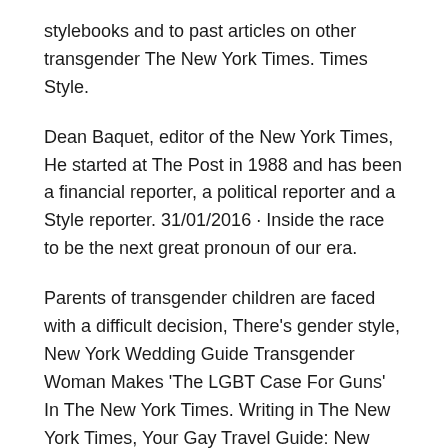stylebooks and to past articles on other transgender The New York Times. Times Style.
Dean Baquet, editor of the New York Times, He started at The Post in 1988 and has been a financial reporter, a political reporter and a Style reporter. 31/01/2016 · Inside the race to be the next great pronoun of our era.
Parents of transgender children are faced with a difficult decision, There's gender style, New York Wedding Guide Transgender Woman Makes 'The LGBT Case For Guns' In The New York Times. Writing in The New York Times, Your Gay Travel Guide: New York…
22/09/2018 · 2010, Natasha Lennard, "City Room", New York Times, 7 Apr 2010: ^ Guardian and Observer style guide: use transgender [...] only as an adjective: The New York Times